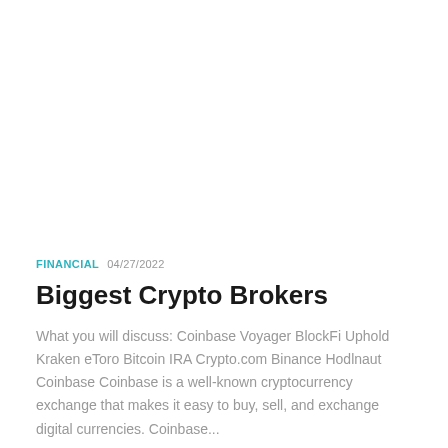FINANCIAL  04/27/2022
Biggest Crypto Brokers
What you will discuss: Coinbase Voyager BlockFi Uphold Kraken eToro Bitcoin IRA Crypto.com Binance Hodlnaut Coinbase Coinbase is a well-known cryptocurrency exchange that makes it easy to buy, sell, and exchange digital currencies. Coinbase...